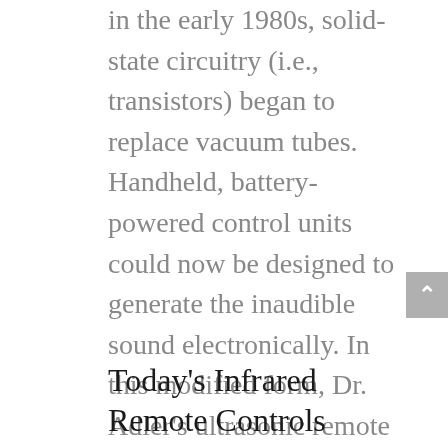in the early 1980s, solid-state circuitry (i.e., transistors) began to replace vacuum tubes. Handheld, battery-powered control units could now be designed to generate the inaudible sound electronically. In this modified form, Dr. Adler’s ultrasonic remote control invention lasted through the early 1980s, a quarter century from its inception. More than 9 million ultrasonic remote control TVs were sold by the industry during the 25-year reign of this Zenith innovation.
Today’s Infrared Remote Controls